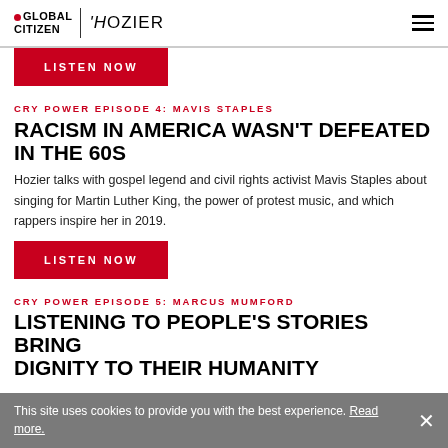GLOBAL CITIZEN | HOZIER
LISTEN NOW
CRY POWER EPISODE 4: MAVIS STAPLES
RACISM IN AMERICA WASN'T DEFEATED IN THE 60S
Hozier talks with gospel legend and civil rights activist Mavis Staples about singing for Martin Luther King, the power of protest music, and which rappers inspire her in 2019.
LISTEN NOW
CRY POWER EPISODE 5: MARCUS MUMFORD
LISTENING TO PEOPLE'S STORIES BRING DIGNITY TO THEIR HUMANITY
This site uses cookies to provide you with the best experience. Read more.